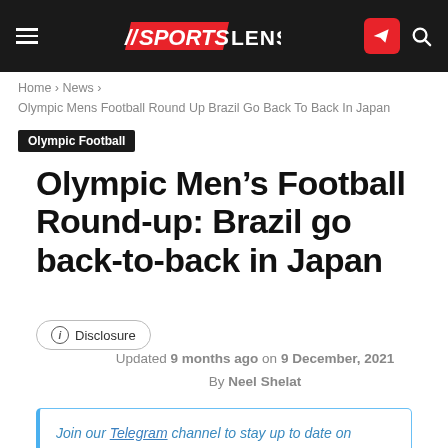SPORTS LENS
Home › News › Olympic Mens Football Round Up Brazil Go Back To Back In Japan
Olympic Football
Olympic Men's Football Round-up: Brazil go back-to-back in Japan
Disclosure
Updated 9 months ago on 9 December, 2021
By Neel Shelat
Join our Telegram channel to stay up to date on breaking news coverage